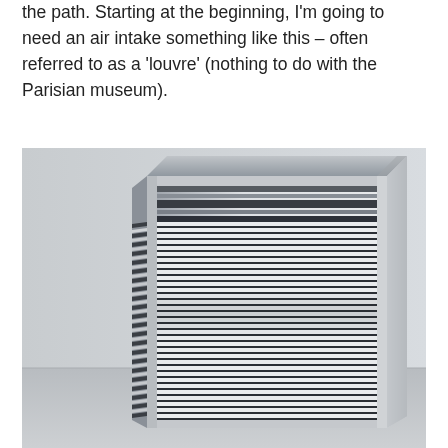the path. Starting at the beginning, I'm going to need an air intake something like this – often referred to as a 'louvre' (nothing to do with the Parisian museum).
[Figure (engineering-diagram): 3D rendered image of a louvre / air intake grille unit, shown in perspective view. The unit is a rectangular panel with many horizontal parallel slats/fins across its face. The frame is white/light grey. The background shows a light grey floor and wall surface.]